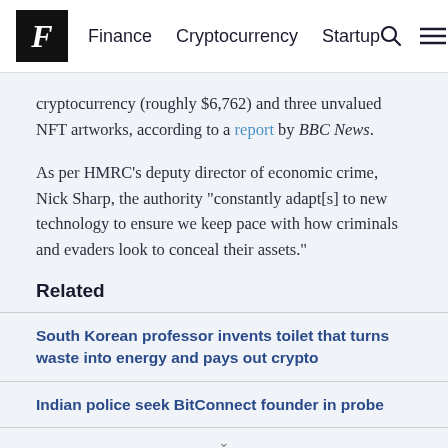F  Finance  Cryptocurrency  Startup
cryptocurrency (roughly $6,762) and three unvalued NFT artworks, according to a report by BBC News.
As per HMRC’s deputy director of economic crime, Nick Sharp, the authority “constantly adapt[s] to new technology to ensure we keep pace with how criminals and evaders look to conceal their assets.”
Related
South Korean professor invents toilet that turns waste into energy and pays out crypto
Indian police seek BitConnect founder in probe